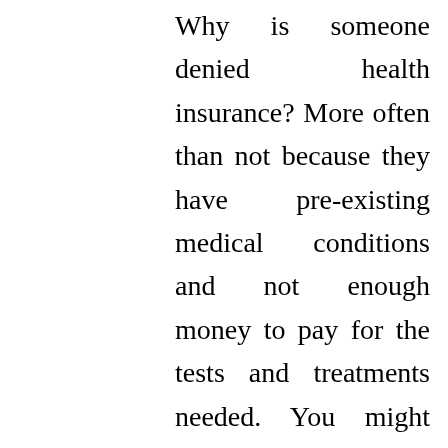Why is someone denied health insurance? More often than not because they have pre-existing medical conditions and not enough money to pay for the tests and treatments needed. You might think that this is why people have health insurance, but unfortunately, this is the way it works. However, the good news for those who are denied coverage is that there is a way to get help. You don't have to live your life in anxiety.